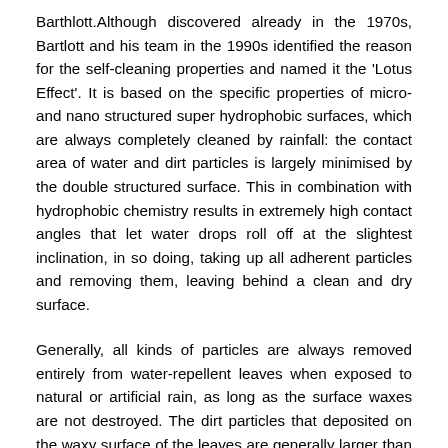Barthlott.Although discovered already in the 1970s, Bartlott and his team in the 1990s identified the reason for the self-cleaning properties and named it the 'Lotus Effect'. It is based on the specific properties of micro- and nano structured super hydrophobic surfaces, which are always completely cleaned by rainfall: the contact area of water and dirt particles is largely minimised by the double structured surface. This in combination with hydrophobic chemistry results in extremely high contact angles that let water drops roll off at the slightest inclination, in so doing, taking up all adherent particles and removing them, leaving behind a clean and dry surface.
Generally, all kinds of particles are always removed entirely from water-repellent leaves when exposed to natural or artificial rain, as long as the surface waxes are not destroyed. The dirt particles that deposited on the waxy surface of the leaves are generally larger than the microstructure of the surface of the leaf. Hence, deposited